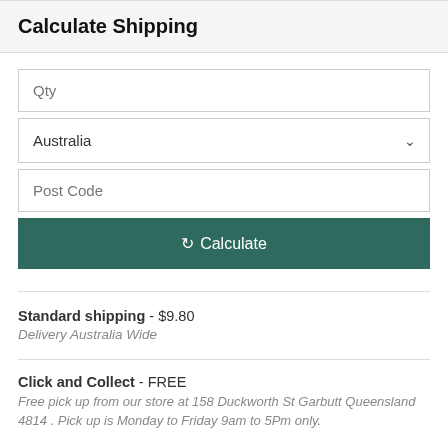Calculate Shipping
Qty
Australia
Post Code
Calculate
Standard shipping - $9.80
Delivery Australia Wide
Click and Collect - FREE
Free pick up from our store at 158 Duckworth St Garbutt Queensland 4814 . Pick up is Monday to Friday 9am to 5Pm only.